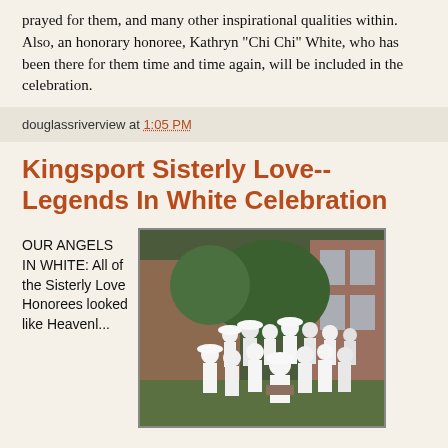prayed for them, and many other inspirational qualities within. Also, an honorary honoree, Kathryn "Chi Chi" White, who has been there for them time and time again, will be included in the celebration.
douglassriverview at 1:05 PM
Kingsport Sisterly Love--Legends In White Celebration
OUR ANGELS IN WHITE: All of the Sisterly Love Honorees looked like Heavenly...
[Figure (photo): Group photo of women dressed in white outfits and white hats, posing outdoors in front of a brick building with trees in background.]